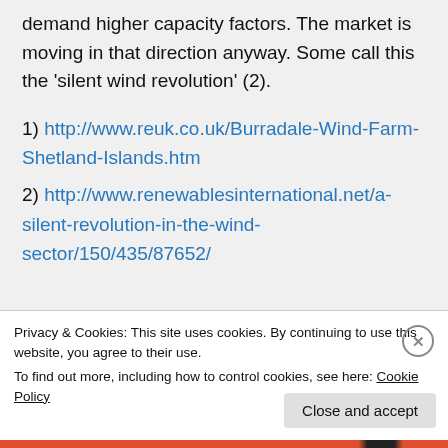demand higher capacity factors. The market is moving in that direction anyway. Some call this the 'silent wind revolution' (2).
1) http://www.reuk.co.uk/Burradale-Wind-Farm-Shetland-Islands.htm
2) http://www.renewablesinternational.net/a-silent-revolution-in-the-wind-sector/150/435/87652/
Privacy & Cookies: This site uses cookies. By continuing to use this website, you agree to their use. To find out more, including how to control cookies, see here: Cookie Policy